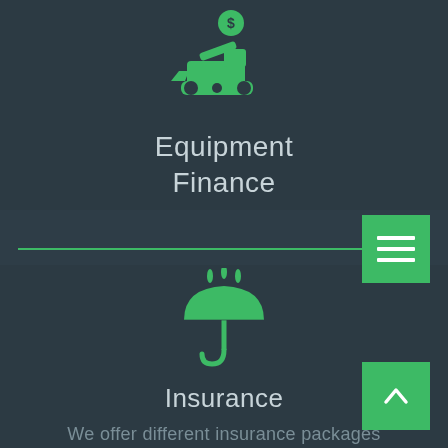[Figure (illustration): Green icon of a construction excavator/bulldozer with a dollar sign coin above it]
Equipment Finance
[Figure (illustration): Green umbrella icon with rain drops above it]
Insurance
We offer different insurance packages